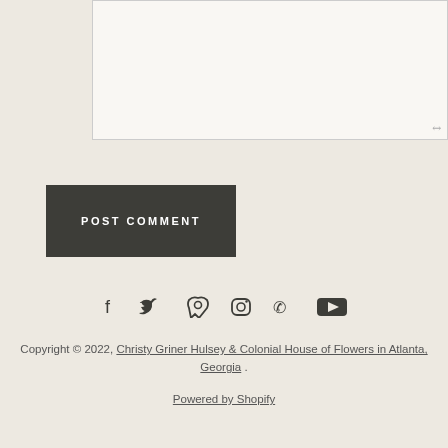[Figure (screenshot): Empty textarea input box with resize handle in bottom-right corner]
POST COMMENT
[Figure (infographic): Row of 6 social media icons: Facebook, Twitter, Pinterest, Instagram, phone/TikTok, YouTube]
Copyright © 2022, Christy Griner Hulsey & Colonial House of Flowers in Atlanta, Georgia .
Powered by Shopify